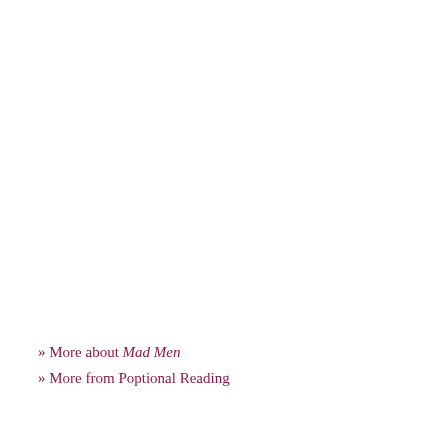» More about Mad Men
» More from Poptional Reading